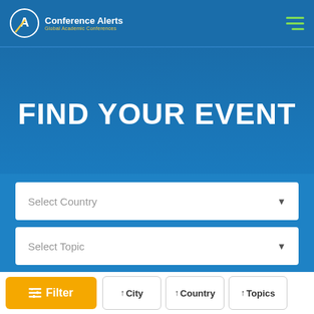Conference Alerts — Global Academic Conferences
FIND YOUR EVENT
Select Country
Select Topic
Select Sub Topic
Filter | City | Country | Topics